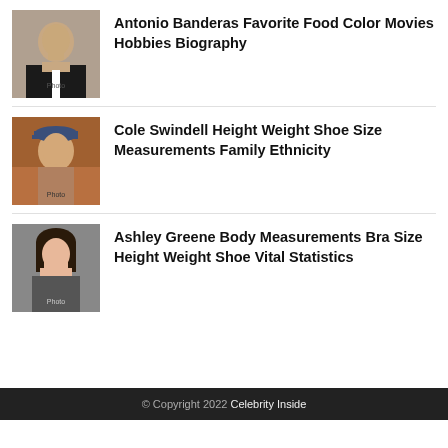[Figure (photo): Photo of Antonio Banderas, man in black suit with tie]
Antonio Banderas Favorite Food Color Movies Hobbies Biography
[Figure (photo): Photo of Cole Swindell, man wearing a blue cap outdoors]
Cole Swindell Height Weight Shoe Size Measurements Family Ethnicity
[Figure (photo): Photo of Ashley Greene, woman with dark hair]
Ashley Greene Body Measurements Bra Size Height Weight Shoe Vital Statistics
© Copyright 2022 Celebrity Inside